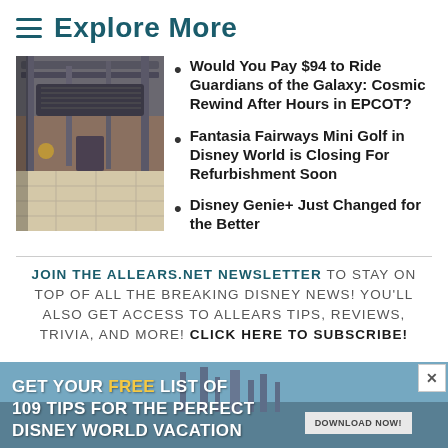Explore More
Would You Pay $94 to Ride Guardians of the Galaxy: Cosmic Rewind After Hours in EPCOT?
Fantasia Fairways Mini Golf in Disney World is Closing For Refurbishment Soon
Disney Genie+ Just Changed for the Better
JOIN THE ALLEARS.NET NEWSLETTER TO STAY ON TOP OF ALL THE BREAKING DISNEY NEWS! YOU'LL ALSO GET ACCESS TO ALLEARS TIPS, REVIEWS, TRIVIA, AND MORE! CLICK HERE TO SUBSCRIBE!
[Figure (photo): Thumbnail photo of Guardians of the Galaxy ride interior with metallic/industrial setting]
[Figure (photo): Advertisement banner: GET YOUR FREE LIST OF 109 TIPS FOR THE PERFECT DISNEY WORLD VACATION with DOWNLOAD NOW button]